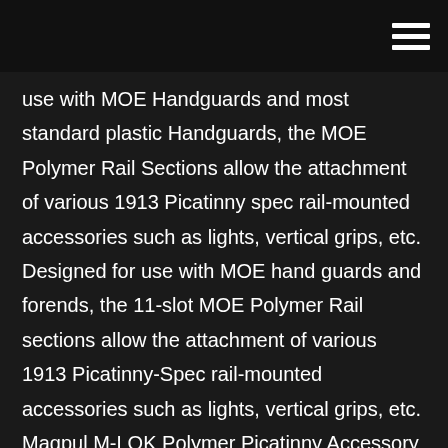[hamburger menu icon]
use with MOE Handguards and most standard plastic Handguards, the MOE Polymer Rail Sections allow the attachment of various 1913 Picatinny spec rail-mounted accessories such as lights, vertical grips, etc. Designed for use with MOE hand guards and forends, the 11-slot MOE Polymer Rail sections allow the attachment of various 1913 Picatinny-Spec rail-mounted accessories such as lights, vertical grips, etc. Magpul M-LOK Polymer Picatinny Accessory Rail, 11 Slots Designed for use with all M-LOK compatible hand guards and forends, our 11-slot M-LOK Polymer Rail Sections provide a cost effective method of attaching various 1913 Picatinny-Spec rail-mounted accessories such as lights, vertical grips, etc. Designed for use with MOE hand guards and forends, the 11-slot MOE